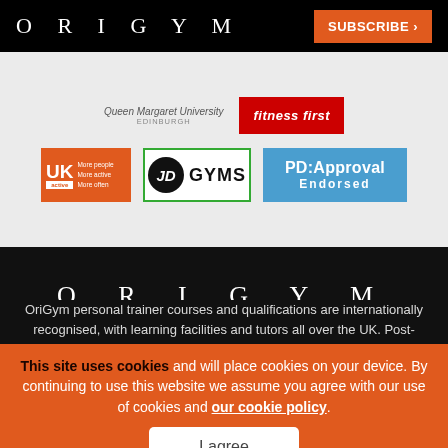ORIGYM
[Figure (logo): OriGym website header with ORIGYM logo on black bar and orange SUBSCRIBE button]
[Figure (logo): Partner logos section: Queen Margaret University, Fitness First (red), UK Active (orange), JD Gyms (green border), PD:Approval Endorsed (blue)]
[Figure (logo): ORIGYM footer logo on black background]
OriGym personal trainer courses and qualifications are internationally recognised, with learning facilities and tutors all over the UK. Post-
This site uses cookies and will place cookies on your device. By continuing to use this website we assume you agree with our use of cookies and our cookie policy.
I agree